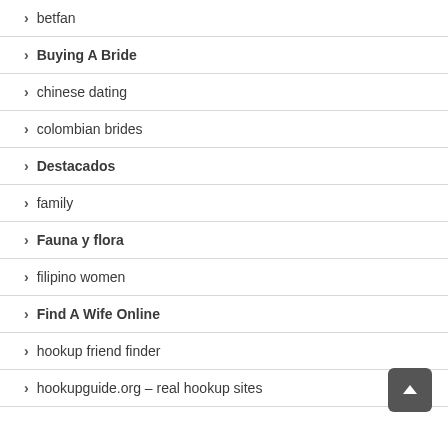betfan
Buying A Bride
chinese dating
colombian brides
Destacados
family
Fauna y flora
filipino women
Find A Wife Online
hookup friend finder
hookupguide.org – real hookup sites